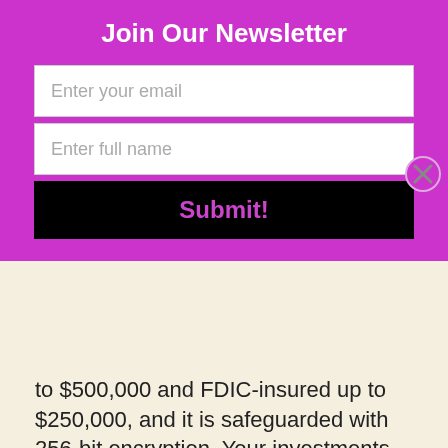Join Our Newsletter
[Figure (screenshot): Newsletter signup form with email input, full name input, and Submit button on purple background with close (X) button]
to $500,000 and FDIC-insured up to $250,000, and it is safeguarded with 256-bit encryption. Your investments, however, are not protected from market losses.